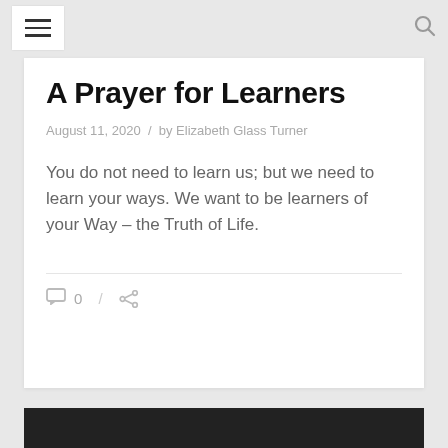≡  🔍
A Prayer for Learners
August 11, 2020  /  by Elizabeth Glass Turner
You do not need to learn us; but we need to learn your ways. We want to be learners of your Way – the Truth of Life.
💬 0  /  share